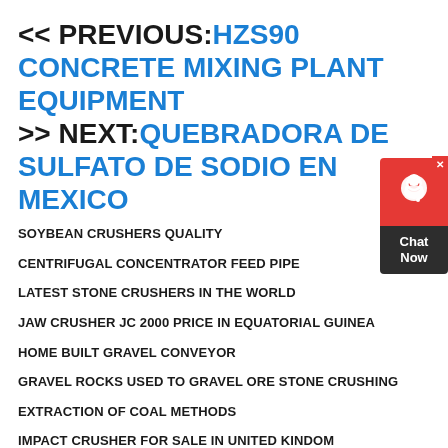<< PREVIOUS: HZS90 CONCRETE MIXING PLANT EQUIPMENT >> NEXT: QUEBRADORA DE SULFATO DE SODIO EN MEXICO
SOYBEAN CRUSHERS QUALITY
CENTRIFUGAL CONCENTRATOR FEED PIPE
LATEST STONE CRUSHERS IN THE WORLD
JAW CRUSHER JC 2000 PRICE IN EQUATORIAL GUINEA
HOME BUILT GRAVEL CONVEYOR
GRAVEL ROCKS USED TO GRAVEL ORE STONE CRUSHING
EXTRACTION OF COAL METHODS
IMPACT CRUSHER FOR SALE IN UNITED KINDOM
[Figure (other): Chat now customer support widget with red icon area and dark bottom panel]